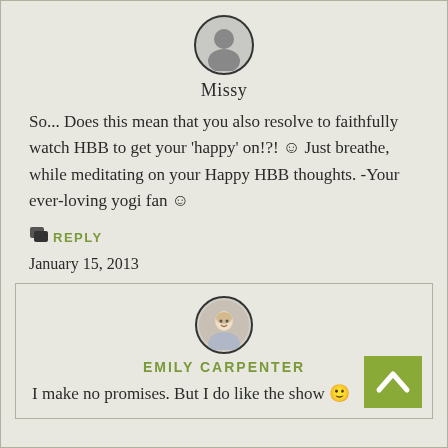[Figure (illustration): Circular avatar icon with generic silhouette person outline, dark border, gray background, labeled 'Missy']
Missy
So... Does this mean that you also resolve to faithfully watch HBB to get your 'happy' on!?! ☺ Just breathe, while meditating on your Happy HBB thoughts. -Your ever-loving yogi fan ☺
REPLY
January 15, 2013
[Figure (photo): Circular avatar photo of Emily Carpenter, a blonde woman smiling, with dark border]
EMILY CARPENTER
I make no promises. But I do like the show 🙂